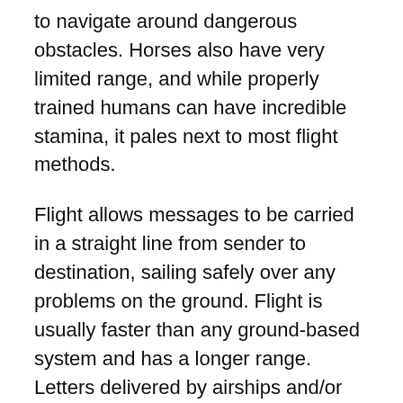to navigate around dangerous obstacles. Horses also have very limited range, and while properly trained humans can have incredible stamina, it pales next to most flight methods.
Flight allows messages to be carried in a straight line from sender to destination, sailing safely over any problems on the ground. Flight is usually faster than any ground-based system and has a longer range. Letters delivered by airships and/or levitating wizards will be faster and more reliable.
Even if the flight in your world is really slow, it still aids communication. A line of people hovering high in the air can use flags or mirrors to send signals that would then be...